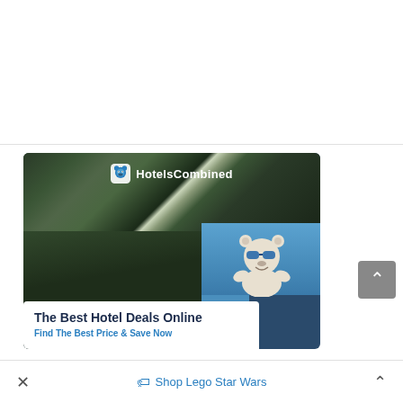[Figure (screenshot): White empty area at top of webpage, separated by a thin horizontal line]
[Figure (photo): HotelsCombined advertisement banner showing mountain fjord landscape with turquoise water, a polar bear mascot wearing sunglasses peeking over a white card, with text 'The Best Hotel Deals Online' and 'Find The Best Price & Save Now']
[Figure (other): Gray scroll-to-top button with upward chevron arrow on the right side]
× Shop Lego Star Wars ^